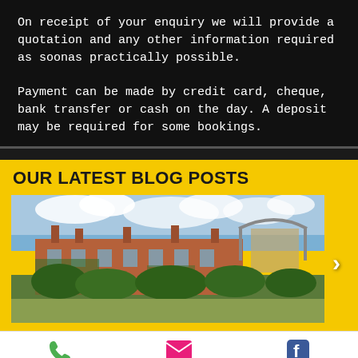On receipt of your enquiry we will provide a quotation and any other information required as soonas practically possible.
Payment can be made by credit card, cheque, bank transfer or cash on the day. A deposit may be required for some bookings.
OUR LATEST BLOG POSTS
[Figure (photo): Photograph of a large red-brick manor house with ivy-covered walls, surrounded by green trees and shrubs, with a modern stadium structure visible in the background and a partly cloudy sky.]
Phone
Email
Facebook